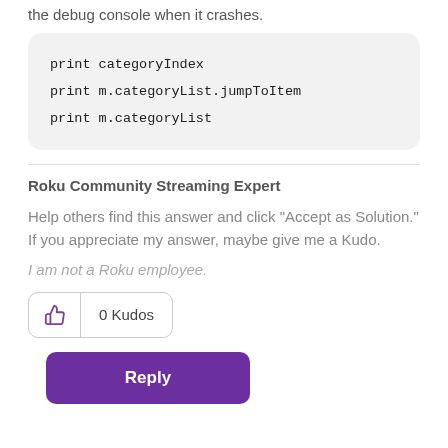the debug console when it crashes.
print categoryIndex
print m.categoryList.jumpToItem
print m.categoryList
Roku Community Streaming Expert
Help others find this answer and click "Accept as Solution."
If you appreciate my answer, maybe give me a Kudo.
I am not a Roku employee.
0 Kudos
Reply